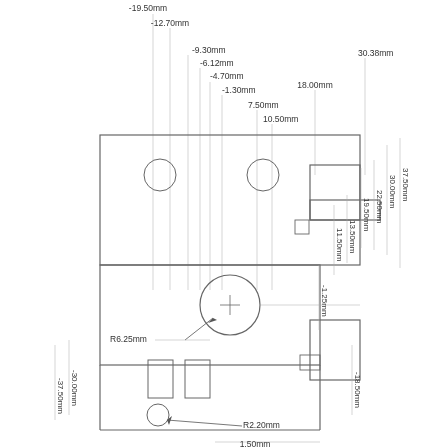[Figure (engineering-diagram): Technical/mechanical engineering drawing showing a top-down schematic of a component with dimension annotations. The diagram includes circles representing holes or bosses, rectangles, a central circular element labeled R6.25mm, a smaller circle labeled R2.20mm, and numerous dimension lines with measurements including: -19.50mm, -12.70mm, -9.30mm, -6.12mm, -4.70mm, -1.30mm, 7.50mm, 10.50mm, 18.00mm, 30.38mm (horizontal/vertical positions from top), and 37.50mm, 30.00mm, 22.50mm, 19.50mm, 13.50mm, 11.50mm, -1.25mm, -18.50mm (right side vertical dimensions), and -37.50mm, -30.00mm (left side vertical dimensions), and 1.50mm (bottom horizontal dimension).]